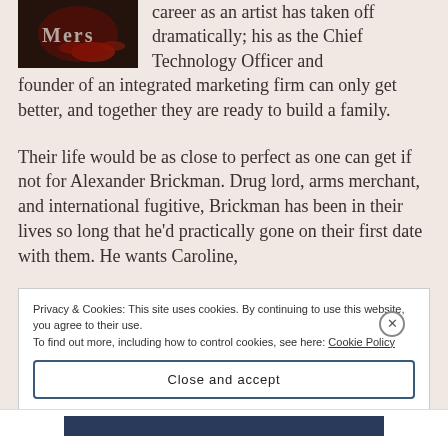[Figure (photo): Dark photo showing a band or music performance with red lighting and drum kit visible, with text overlay 'Mers' or similar]
career as an artist has taken off dramatically; his as the Chief Technology Officer and founder of an integrated marketing firm can only get better, and together they are ready to build a family.
Their life would be as close to perfect as one can get if not for Alexander Brickman. Drug lord, arms merchant, and international fugitive, Brickman has been in their lives so long that he'd practically gone on their first date with them. He wants Caroline,
Privacy & Cookies: This site uses cookies. By continuing to use this website, you agree to their use.
To find out more, including how to control cookies, see here: Cookie Policy
Close and accept